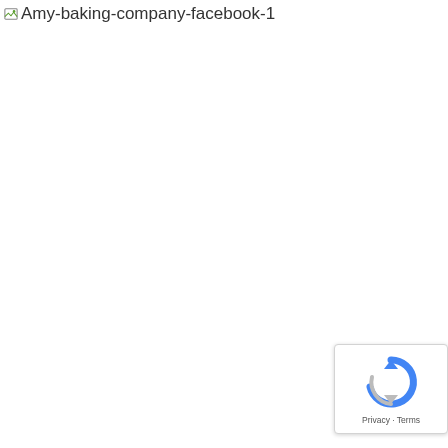[Figure (other): Broken image placeholder with alt text 'Amy-baking-company-facebook-1' and a small green image icon]
[Figure (other): Google reCAPTCHA badge widget with circular arrow icon and Privacy/Terms links]